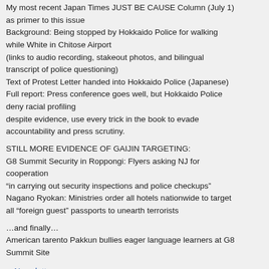My most recent Japan Times JUST BE CAUSE Column (July 1) as primer to this issue
Background: Being stopped by Hokkaido Police for walking while White in Chitose Airport
(links to audio recording, stakeout photos, and bilingual transcript of police questioning)
Text of Protest Letter handed into Hokkaido Police (Japanese)
Full report: Press conference goes well, but Hokkaido Police deny racial profiling
despite evidence, use every trick in the book to evade accountability and press scrutiny.
STILL MORE EVIDENCE OF GAIJIN TARGETING:
G8 Summit Security in Roppongi: Flyers asking NJ for cooperation
“in carrying out security inspections and police checkups”
Nagano Ryokan: Ministries order all hotels nationwide to target all “foreign guest” passports to unearth terrorists
…and finally…
American tarento Pakkun bullies eager language learners at G8 Summit Site
▶ Newsletters